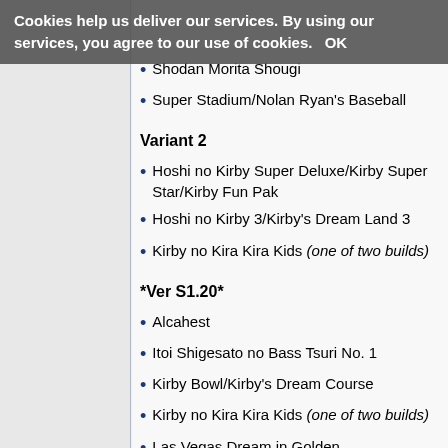Cookies help us deliver our services. By using our services, you agree to our use of cookies. OK
Shodan Morita Shougi
Super Stadium/Nolan Ryan's Baseball
Variant 2
Hoshi no Kirby Super Deluxe/Kirby Super Star/Kirby Fun Pak
Hoshi no Kirby 3/Kirby's Dream Land 3
Kirby no Kira Kira Kids (one of two builds)
*Ver S1.20*
Alcahest
Itoi Shigesato no Bass Tsuri No. 1
Kirby Bowl/Kirby's Dream Course
Kirby no Kira Kira Kids (one of two builds)
Las Vegas Dream in Golden